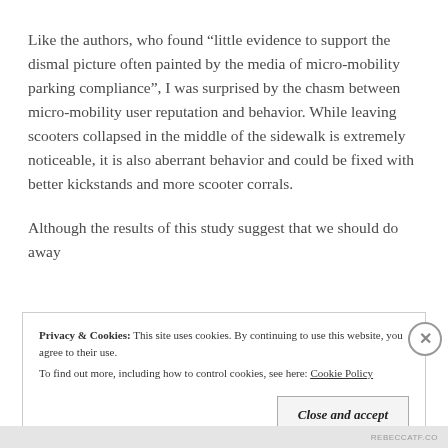Like the authors, who found “little evidence to support the dismal picture often painted by the media of micro-mobility parking compliance”, I was surprised by the chasm between micro-mobility user reputation and behavior. While leaving scooters collapsed in the middle of the sidewalk is extremely noticeable, it is also aberrant behavior and could be fixed with better kickstands and more scooter corrals.
Although the results of this study suggest that we should do away
Privacy & Cookies:  This site uses cookies. By continuing to use this website, you agree to their use.
To find out more, including how to control cookies, see here: Cookie Policy
Close and accept